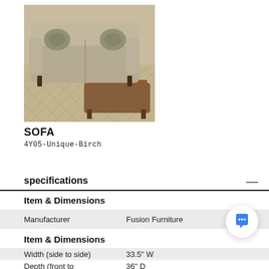[Figure (photo): Photo of a beige/linen fabric sofa with decorative pillows on a patterned area rug, with a wooden coffee table in the background]
SOFA
4Y05-Unique-Birch
specifications
Item & Dimensions
|  |  |
| --- | --- |
| Manufacturer | Fusion Furniture |
Item & Dimensions
|  |  |
| --- | --- |
| Width (side to side) | 33.5" W |
| Depth (front to | 36" D |